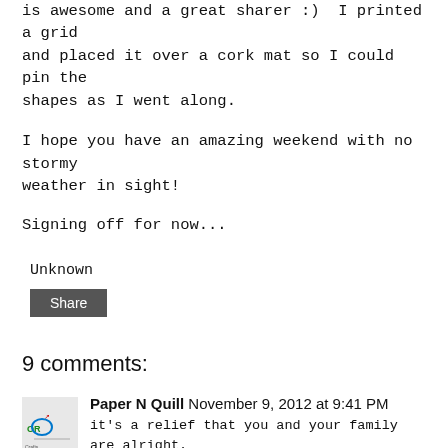is awesome and a great sharer :) I printed a grid and placed it over a cork mat so I could pin the shapes as I went along.
I hope you have an amazing weekend with no stormy weather in sight!
Signing off for now...
Unknown
[Figure (other): Share button - dark gray rectangular button with white text 'Share']
9 comments:
Paper N Quill  November 9, 2012 at 9:41 PM
it's a relief that you and your family are alright. and congrats on making into the holiday guide feature.

hugs.